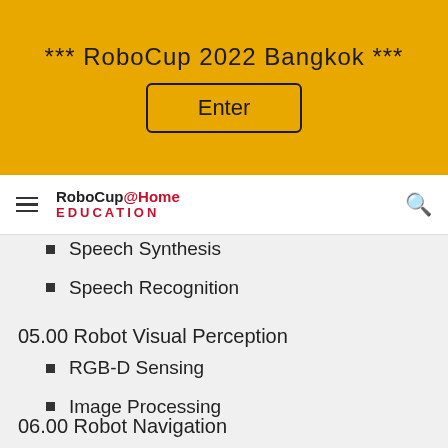*** RoboCup 2022 Bangkok ***
[Figure (screenshot): Enter button for RoboCup 2022 Bangkok website]
RoboCup@Home EDUCATION
Speech Synthesis
Speech Recognition
05.00 Robot Visual Perception
RGB-D Sensing
Image Processing
06.00 Robot Navigation
SLAM Map Building (Simulation)
Autonomous Navigation (Simulation)